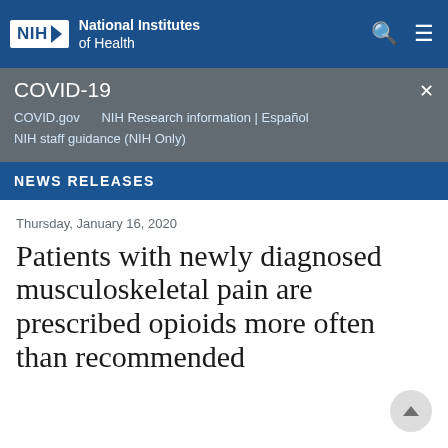NIH National Institutes of Health
COVID-19
COVID.gov    NIH Research information | Español
NIH staff guidance (NIH Only)
NEWS RELEASES
Thursday, January 16, 2020
Patients with newly diagnosed musculoskeletal pain are prescribed opioids more often than recommended